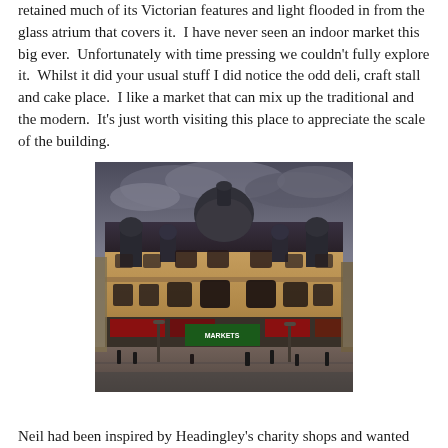retained much of its Victorian features and light flooded in from the glass atrium that covers it. I have never seen an indoor market this big ever. Unfortunately with time pressing we couldn't fully explore it. Whilst it did your usual stuff I did notice the odd deli, craft stall and cake place. I like a market that can mix up the traditional and the modern. It's just worth visiting this place to appreciate the scale of the building.
[Figure (photo): Exterior photograph of Leeds City Markets building, a grand Victorian architecture with ornate domed roof and terracotta stone facade. The building shows multiple decorative turrets and a large central dome. Street level shows shops including the Leeds City Markets entrance sign. People are visible on the street. The image has a dramatic, slightly desaturated tone with moody sky.]
Neil had been inspired by Headingley's charity shops and wanted